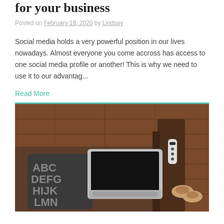for your business
Posted on February 18, 2020 by Lindsay
Social media holds a very powerful position in our lives nowadays.  Almost everyone you come accross has access to one social media profile or another!  This is why we need to use it to our advantag...
Read More
[Figure (photo): Overhead view of a brown sofa/couch with a laptop computer open on it, a decorative pillow with alphabet letters, a TV remote, and slippers on a wooden floor background.]
Load Speed for Your Site: Getting it Right